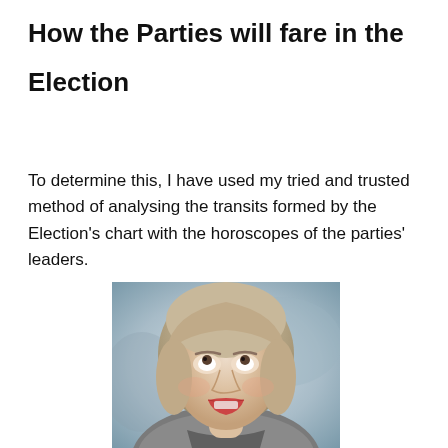How the Parties will fare in the Election
To determine this, I have used my tried and trusted method of analysing the transits formed by the Election’s chart with the horoscopes of the parties’ leaders.
[Figure (photo): Photograph of a woman with short blonde/grey hair and open mouth looking upward, wearing a grey textured jacket, against a blurred urban background.]